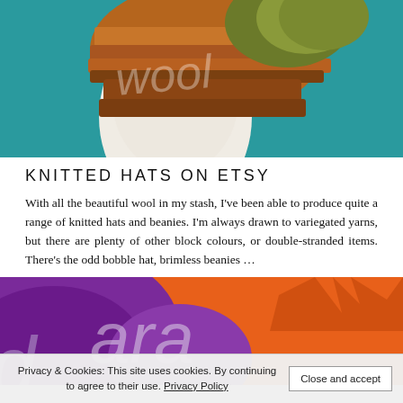[Figure (photo): A white mannequin head wearing a variegated knitted hat/beanie in shades of orange, brown, and green, against a teal background. The word 'wool' appears as a watermark overlay in light text.]
KNITTED HATS ON ETSY
With all the beautiful wool in my stash, I've been able to produce quite a range of knitted hats and beanies. I'm always drawn to variegated yarns, but there are plenty of other block colours, or double-stranded items. There's the odd bobble hat, brimless beanies …
[Figure (photo): A vibrant purple and orange abstract/artistic image featuring the text 'ara' in large light letters, partially visible, appearing to show colorful yarn or textile art.]
Privacy & Cookies: This site uses cookies. By continuing to agree to their use. Privacy Policy
Close and accept